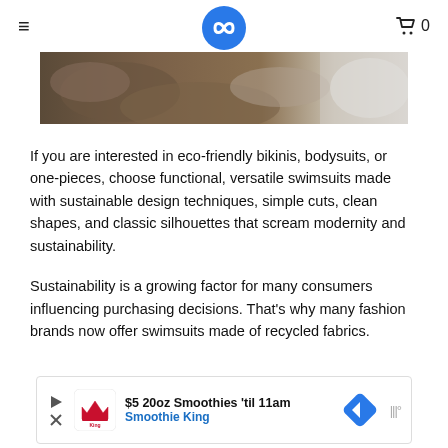≡  [logo]  🛒 0
[Figure (photo): Partial hero image showing rocks and water/waterfall, cropped at top]
If you are interested in eco-friendly bikinis, bodysuits, or one-pieces, choose functional, versatile swimsuits made with sustainable design techniques, simple cuts, clean shapes, and classic silhouettes that scream modernity and sustainability.
Sustainability is a growing factor for many consumers influencing purchasing decisions. That's why many fashion brands now offer swimsuits made of recycled fabrics.
[Figure (screenshot): Advertisement banner for Smoothie King: '$5 20oz Smoothies 'til 11am' with Smoothie King logo, a blue diamond navigation icon, and audio/speaker icon]